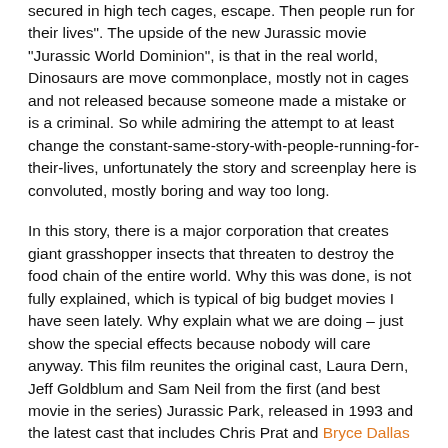secured in high tech cages, escape. Then people run for their lives". The upside of the new Jurassic movie "Jurassic World Dominion", is that in the real world, Dinosaurs are move commonplace, mostly not in cages and not released because someone made a mistake or is a criminal. So while admiring the attempt to at least change the constant-same-story-with-people-running-for-their-lives, unfortunately the story and screenplay here is convoluted, mostly boring and way too long.
In this story, there is a major corporation that creates giant grasshopper insects that threaten to destroy the food chain of the entire world. Why this was done, is not fully explained, which is typical of big budget movies I have seen lately. Why explain what we are doing – just show the special effects because nobody will care anyway. This film reunites the original cast, Laura Dern, Jeff Goldblum and Sam Neil from the first (and best movie in the series) Jurassic Park, released in 1993 and the latest cast that includes Chris Prat and Bryce Dallas Howard, who plays Claire Dearing. Towards the end of this story they all reunite while trying to find Dearing's daughter played by Isabella Sermon.